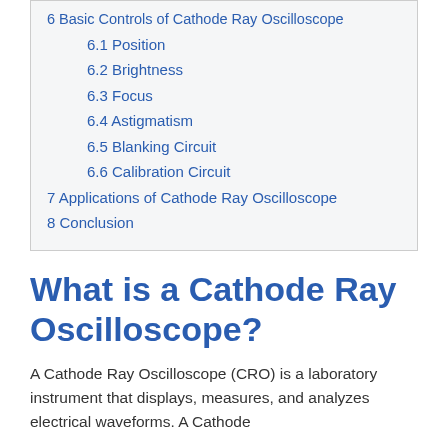6 Basic Controls of Cathode Ray Oscilloscope
6.1 Position
6.2 Brightness
6.3 Focus
6.4 Astigmatism
6.5 Blanking Circuit
6.6 Calibration Circuit
7 Applications of Cathode Ray Oscilloscope
8 Conclusion
What is a Cathode Ray Oscilloscope?
A Cathode Ray Oscilloscope (CRO) is a laboratory instrument that displays, measures, and analyzes electrical waveforms. A Cathode